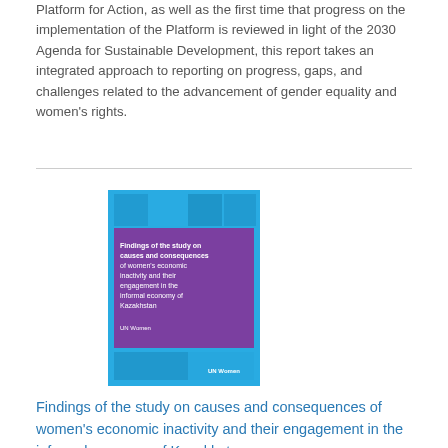Platform for Action, as well as the first time that progress on the implementation of the Platform is reviewed in light of the 2030 Agenda for Sustainable Development, this report takes an integrated approach to reporting on progress, gaps, and challenges related to the advancement of gender equality and women's rights.
[Figure (illustration): Book cover of the publication titled 'Findings of the study on causes and consequences of women's economic inactivity and their engagement in the informal economy of Kazakhstan', featuring a purple and blue geometric design with white text and UN Women logo.]
Findings of the study on causes and consequences of women's economic inactivity and their engagement in the informal economy of Kazakhstan
Date: Monday, 29 July 2019
The publication provides the findings of a study of the causes and consequences of women's economic inactivity and their engagement in the informal economy of Kazakhstan.